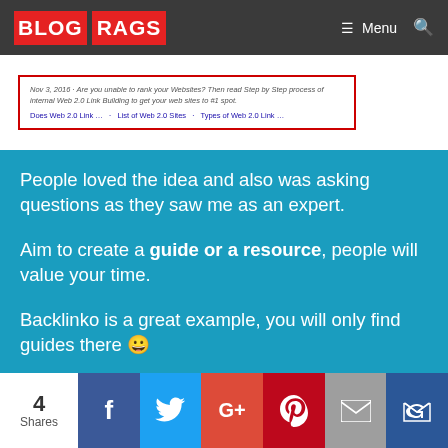BLOG RAGS — Menu
[Figure (screenshot): Screenshot of a web search result with red border showing a blog post about Web 2.0 Link Building with links: Does Web 2.0 Link..., List of Web 2.0 Sites, Types of Web 2.0 Link...]
People loved the idea and also was asking questions as they saw me as an expert.
Aim to create a guide or a resource, people will value your time.
Backlinko is a great example, you will only find guides there 😀
4 Shares — Facebook, Twitter, Google+, Pinterest, Email, Crown